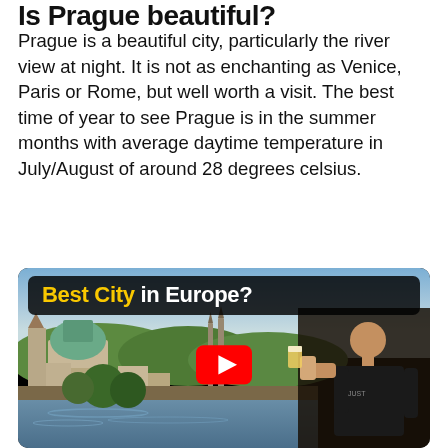Is Prague beautiful?
Prague is a beautiful city, particularly the river view at night. It is not as enchanting as Venice, Paris or Rome, but well worth a visit. The best time of year to see Prague is in the summer months with average daytime temperature in July/August of around 28 degrees celsius.
[Figure (screenshot): YouTube video thumbnail titled 'Best City in Europe?' showing an aerial view of Prague with churches and red-roofed buildings, a man drinking beer on the right, and a red YouTube play button in the center.]